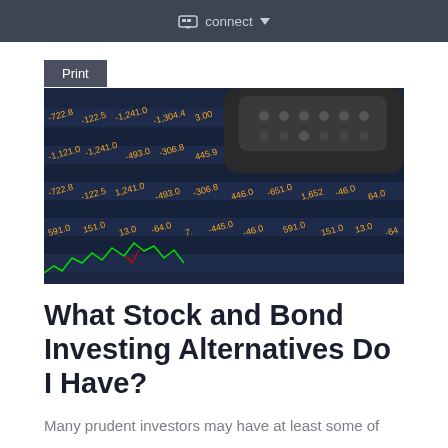connect
[Figure (photo): Close-up of a stock market trading board displaying orange/yellow financial numbers and figures, with a dark remote control or device in the upper portion of the image. Green line chart visible at bottom left.]
What Stock and Bond Investing Alternatives Do I Have?
Many prudent investors may have at least some of